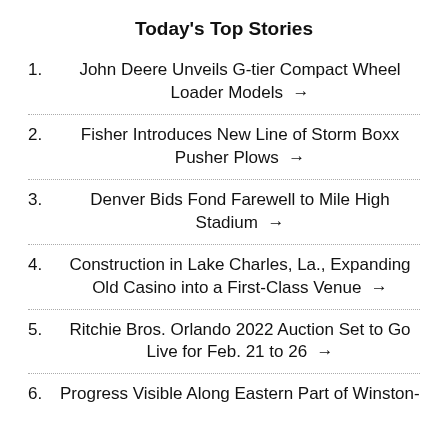Today's Top Stories
John Deere Unveils G-tier Compact Wheel Loader Models →
Fisher Introduces New Line of Storm Boxx Pusher Plows →
Denver Bids Fond Farewell to Mile High Stadium →
Construction in Lake Charles, La., Expanding Old Casino into a First-Class Venue →
Ritchie Bros. Orlando 2022 Auction Set to Go Live for Feb. 21 to 26 →
Progress Visible Along Eastern Part of Winston-